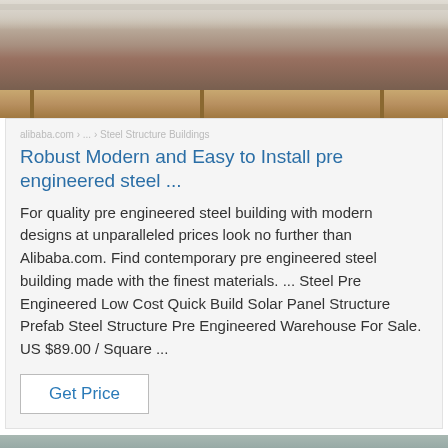[Figure (photo): Photo of packaged/wrapped industrial goods on wooden pallets, viewed from above, with white protective covering and wooden slat base visible]
Robust Modern and Easy to Install pre engineered steel ...
For quality pre engineered steel building with modern designs at unparalleled prices look no further than Alibaba.com. Find contemporary pre engineered steel building made with the finest materials. ... Steel Pre Engineered Low Cost Quick Build Solar Panel Structure Prefab Steel Structure Pre Engineered Warehouse For Sale. US $89.00 / Square ...
Get Price
[Figure (photo): Close-up photo of brown wooden surface/planks with blue dotted TOP logo watermark in bottom-right corner, with teal/aqua rope or textile visible at top]